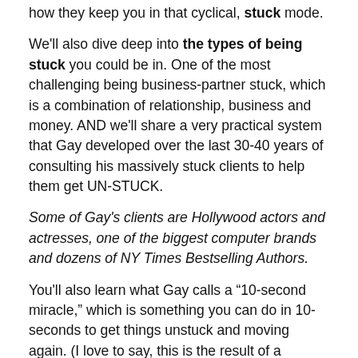how they keep you in that cyclical, stuck mode.
We'll also dive deep into the types of being stuck you could be in. One of the most challenging being business-partner stuck, which is a combination of relationship, business and money. AND we'll share a very practical system that Gay developed over the last 30-40 years of consulting his massively stuck clients to help them get UN-STUCK.
Some of Gay’s clients are Hollywood actors and actresses, one of the biggest computer brands and dozens of NY Times Bestselling Authors.
You'll also learn what Gay calls a “10-second miracle,” which is something you can do in 10-seconds to get things unstuck and moving again. (I love to say, this is the result of a $25,000 question.)
CLICK HERE TO WATCH THIS EPISODE ON YOUTUBE